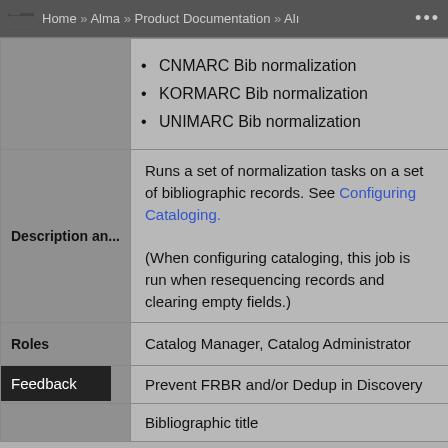Home » Alma » Product Documentation » Alı ...
CNMARC Bib normalization
KORMARC Bib normalization
UNIMARC Bib normalization
| Description an... | Content |
| --- | --- |
| Description an... | Runs a set of normalization tasks on a set of bibliographic records. See Configuring Cataloging.

(When configuring cataloging, this job is run when resequencing records and clearing empty fields.) |
| Roles | Catalog Manager, Catalog Administrator |
| [Feedback overlay] | Prevent FRBR and/or Dedup in Discovery |
|  | Bibliographic title |